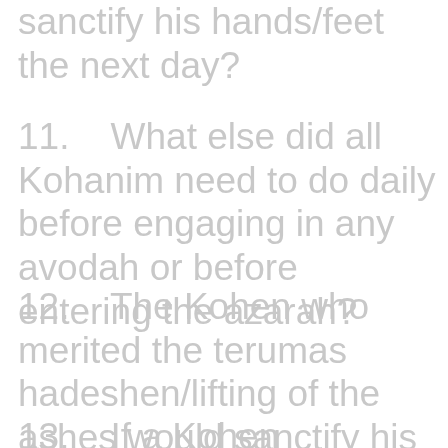sanctify his hands/feet the next day?
11.   What else did all Kohanim need to do daily before engaging in any avodah or before entering the azarah?
12.   The Kohen who merited the terumas hadeshen/lifting of the ashes would sanctify his hands/feet before sunrise. Did he need to repeat this after sunrise?
13.   If a Kohen sanctified his hands/feet before...